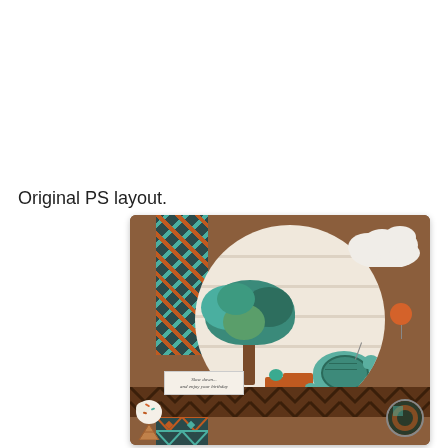Original PS layout.
[Figure (illustration): A scrapbook-style card featuring a brown textured background with argyle and chevron pattern strips. In the center is a large pale circle containing a stylized tree with teal canopy, an orange wagon/cart with a teal plant, a turtle with a decorated shell, green grass at the bottom. Upper right has white fluffy clouds and an orange balloon. Lower left has an ice cream cone and a small 'Slow down... and enjoy your birthday' label. Lower right has a circular badge with orange and teal patterns.]